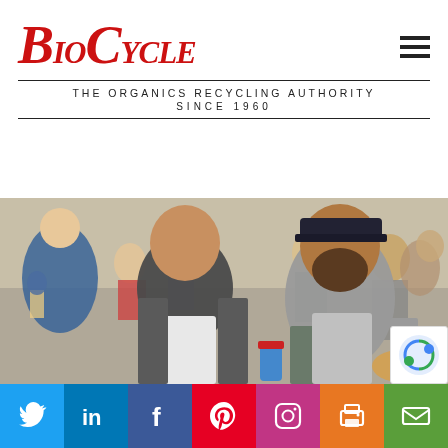[Figure (logo): BioCycle logo in red serif italic font with hamburger menu icon on the right]
THE ORGANICS RECYCLING AUTHORITY
SINCE 1960
[Figure (photo): Group of people at an outdoor event, two men in foreground smiling, one holding a can and food]
[Figure (infographic): Social media share bar with Twitter, LinkedIn, Facebook, Pinterest, Instagram, Print, and Email buttons]